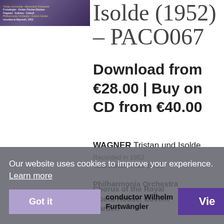[Figure (photo): Album art thumbnail for Wagner Tristan und Isolde recording, purple/dark background with yellow and white text listing performers]
Isolde (1952) – PACO067
Download from €28.00 | Buy on CD from €40.00
WAGNER Tristan und Isolde
Recorded in 1952
Total duration: 4hr 16:25
Chorus of the Royal Opera House, Covent Garden
Philharmonia Orchestra
Conductor Wilhelm Furtwängler
Our website uses cookies to improve your experience. Learn more
Got it
Vie